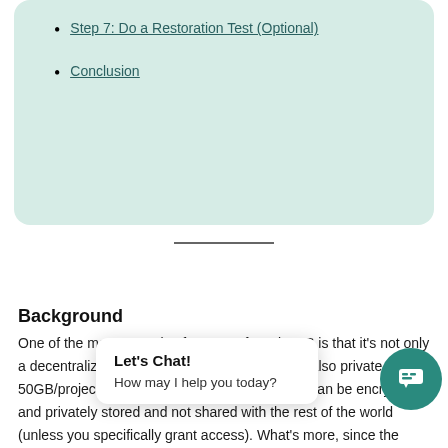Step 7: Do a Restoration Test (Optional)
Conclusion
Background
One of the most attractive features of Storj DCS is that it's not only a decentralized cloud storage provider, but it is also private, se... 50GB/project) and ... WordPress backups can be encrypted and privately stored and not shared with the rest of the world (unless you specifically grant access). What's more, since the
[Figure (other): Live chat popup widget with 'Let's Chat!' heading and 'How may I help you today?' message, along with a teal circular chat button icon]